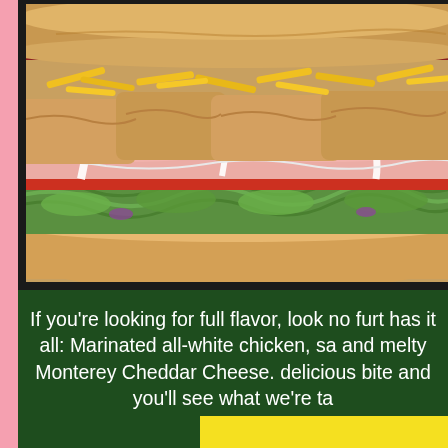[Figure (photo): Close-up photo of a Subway sandwich with marinated chicken, shredded cheddar cheese, lettuce, red onion, tomato, bacon, and ranch/mayo sauce on a hoagie roll]
If you're looking for full flavor, look no furt has it all: Marinated all-white chicken, sa and melty Monterey Cheddar Cheese. delicious bite and you'll see what we're ta